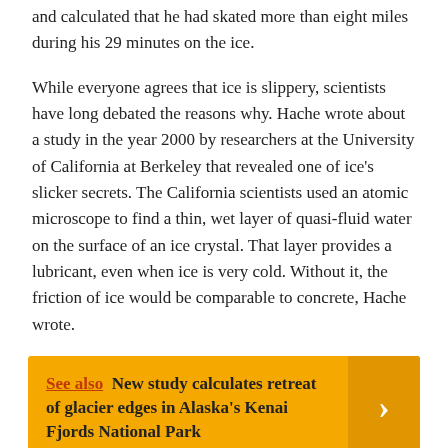and calculated that he had skated more than eight miles during his 29 minutes on the ice.
While everyone agrees that ice is slippery, scientists have long debated the reasons why. Hache wrote about a study in the year 2000 by researchers at the University of California at Berkeley that revealed one of ice's slicker secrets. The California scientists used an atomic microscope to find a thin, wet layer of quasi-fluid water on the surface of an ice crystal. That layer provides a lubricant, even when ice is very cold. Without it, the friction of ice would be comparable to concrete, Hache wrote.
See also  New study calculates retreat of glacier edges in Alaska's Kenai Fjords National Park
This microscopic wet layer and other physical properties of ice make a sharpened skate on ice one of the fastest non-motorized ways of propelling the human body. Though